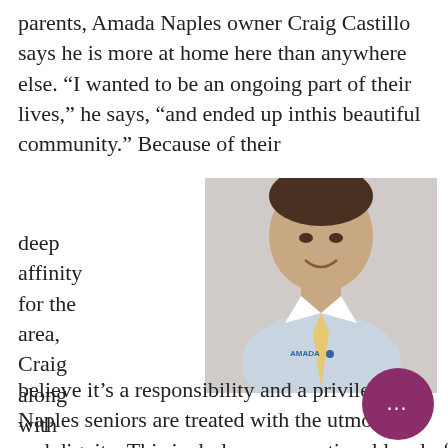parents, Amada Naples owner Craig Castillo says he is more at home here than anywhere else. “I wanted to be an ongoing part of their lives,” he says, “and ended up inthis beautiful community.” Because of their deep affinity for the area, Craig along with brother Jeff believe it’s a responsibility and a privilege to Naples seniors are treated with the utmost re and dignity. This includes an exceptional level of in-
[Figure (photo): A smiling man in a light blue dress shirt and yellow tie wearing an Amada name badge, shown from the waist up against a white background.]